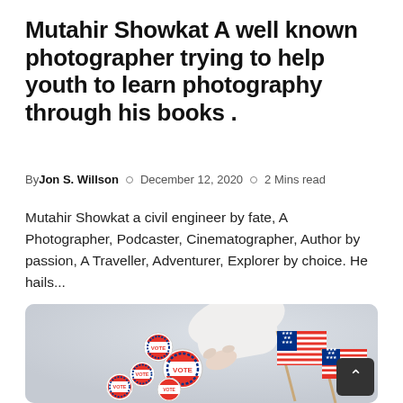Mutahir Showkat A well known photographer trying to help youth to learn photography through his books .
By Jon S. Willson  o  December 12, 2020  o  2 Mins read
Mutahir Showkat a civil engineer by fate, A Photographer, Podcaster, Cinematographer, Author by passion, A Traveller, Adventurer, Explorer by choice. He hails...
[Figure (photo): A hand in a white sleeve picking up a circular 'VOTE' campaign button, surrounded by more vote buttons and small American flags on a light grey background.]